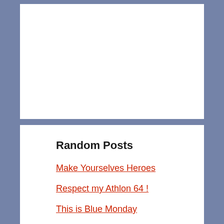Random Posts
Make Yourselves Heroes
Respect my Athlon 64 !
This is Blue Monday